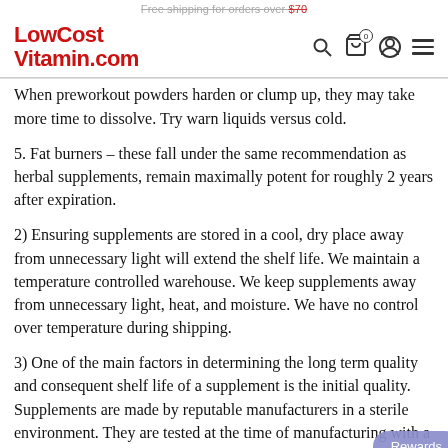Free shipping for orders over $70
LowCost Vitamin.com
When preworkout powders harden or clump up, they may take more time to dissolve. Try warn liquids versus cold.
5. Fat burners – these fall under the same recommendation as herbal supplements, remain maximally potent for roughly 2 years after expiration.
2) Ensuring supplements are stored in a cool, dry place away from unnecessary light will extend the shelf life. We maintain a temperature controlled warehouse. We keep supplements away from unnecessary light, heat, and moisture. We have no control over temperature during shipping.
3) One of the main factors in determining the long term quality and consequent shelf life of a supplement is the initial quality. Supplements are made by reputable manufacturers in a sterile environment. They are tested at the time of manufacturing with a microbial limit, non-essential materials, heavy metals, and pro oxidant residue test.